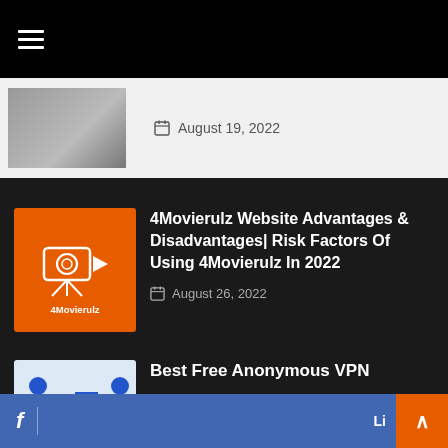☰ (hamburger menu)
August 19, 2022
[Figure (screenshot): 4Movierulz orange logo with film camera icon and text '4Movierulz']
4Movierulz Website Advantages & Disadvantages| Risk Factors Of Using 4Movierulz In 2022
August 26, 2022
[Figure (illustration): VPN illustration with two people and a shield logo with VPN text]
Best Free Anonymous VPN
August 24, 2022
f  |  Li  ∧